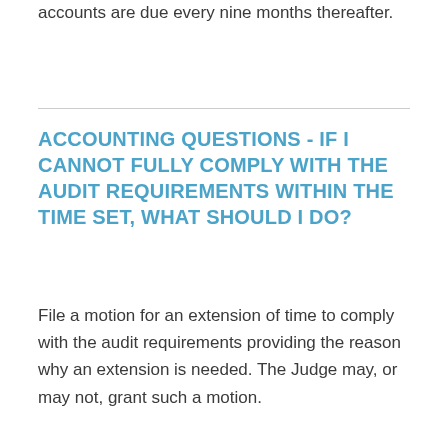accounts are due every nine months thereafter.
ACCOUNTING QUESTIONS - IF I CANNOT FULLY COMPLY WITH THE AUDIT REQUIREMENTS WITHIN THE TIME SET, WHAT SHOULD I DO?
File a motion for an extension of time to comply with the audit requirements providing the reason why an extension is needed. The Judge may, or may not, grant such a motion.